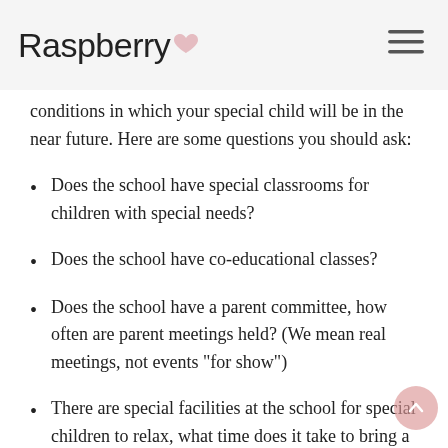Raspberry
conditions in which your special child will be in the near future. Here are some questions you should ask:
Does the school have special classrooms for children with special needs?
Does the school have co-educational classes?
Does the school have a parent committee, how often are parent meetings held? (We mean real meetings, not events "for show")
There are special facilities at the school for special children to relax, what time does it take to bring a child and pick him up?
Who can help special children during